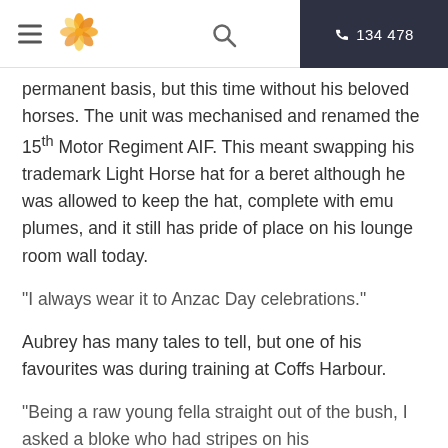≡  [logo]  🔍  134 478
permanent basis, but this time without his beloved horses. The unit was mechanised and renamed the 15th Motor Regiment AIF. This meant swapping his trademark Light Horse hat for a beret although he was allowed to keep the hat, complete with emu plumes, and it still has pride of place on his lounge room wall today.
“I always wear it to Anzac Day celebrations.”
Aubrey has many tales to tell, but one of his favourites was during training at Coffs Harbour.
“Being a raw young fella straight out of the bush, I asked a bloke who had stripes on his